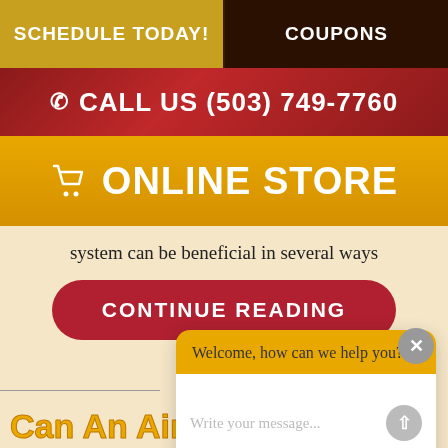SCHEDULE TODAY! | COUPONS
CALL US (503) 749-7760
ONLINE STORE
system can be beneficial in several ways
CONTINUE READING
Welcome, how can we help you?
Write your message...
Can An Air Conditioner